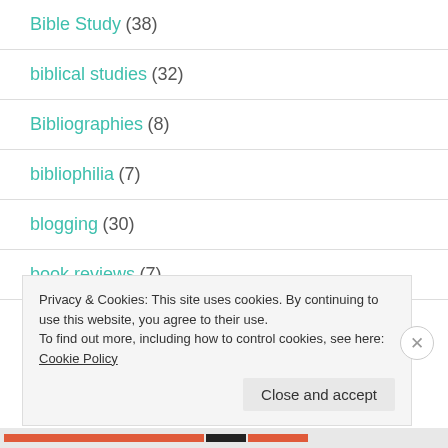Bible Study (38)
biblical studies (32)
Bibliographies (8)
bibliophilia (7)
blogging (30)
book reviews (7)
Privacy & Cookies: This site uses cookies. By continuing to use this website, you agree to their use.
To find out more, including how to control cookies, see here: Cookie Policy